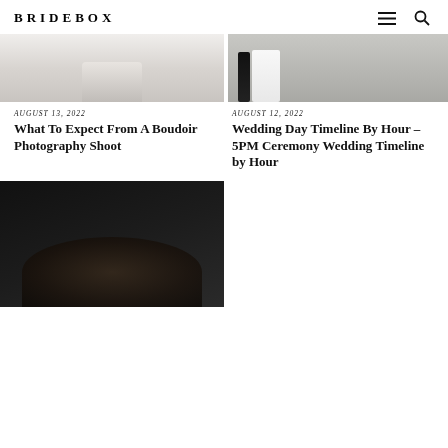BRIDEBOX
[Figure (photo): Boudoir photography shoot image - light toned, soft focus]
[Figure (photo): Wedding couple outdoors, bride in white dress walking]
AUGUST 13, 2022
What To Expect From A Boudoir Photography Shoot
AUGUST 12, 2022
Wedding Day Timeline By Hour – 5PM Ceremony Wedding Timeline by Hour
[Figure (photo): Dark nighttime photo, people gathered, low key lighting]